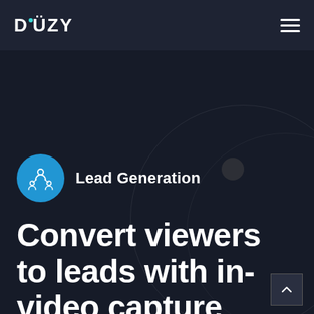DÜZY
[Figure (screenshot): Düzy website screenshot showing Lead Generation page with teal/dark branding, logo in top nav, Lead Generation badge with blue circle icon showing network/people graphic, and large white bold headline text.]
Lead Generation
Convert viewers to leads with in-video capture